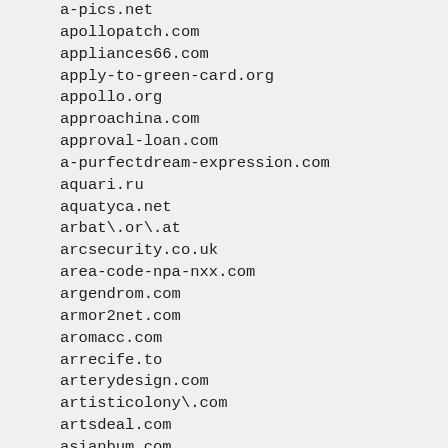a-pics.net
apollopatch.com
appliances66.com
apply-to-green-card.org
appollo.org
approachina.com
approval-loan.com
a-purfectdream-expression.com
aquari.ru
aquatyca.net
arbat\.or\.at
arcsecurity.co.uk
area-code-npa-nxx.com
argendrom.com
armor2net.com
aromacc.com
arrecife.to
arterydesign.com
artisticolony\.com
artsdeal.com
asianbum.com
asian-girls.name
asian-nude.blogspot.com
asian-sex-woman.com
asp169.com